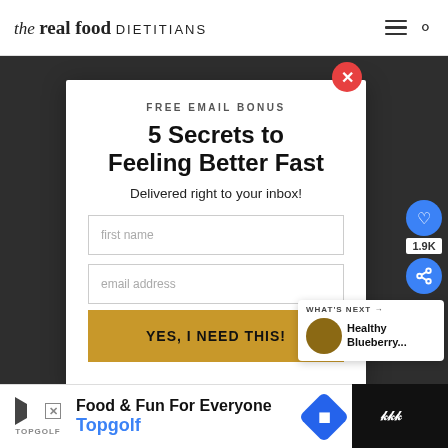the real food DIETITIANS
[Figure (screenshot): Website popup modal on The Real Food Dietitians blog with dark food background image]
5 Secrets to Feeling Better Fast
FREE EMAIL BONUS
Delivered right to your inbox!
first name
email address
YES, I NEED THIS!
WHAT'S NEXT → Healthy Blueberry...
Food & Fun For Everyone Topgolf